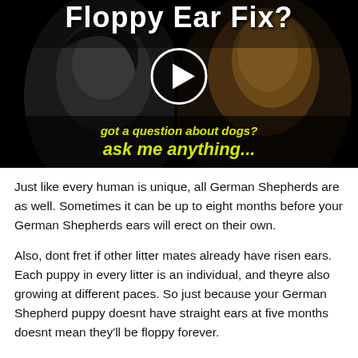[Figure (screenshot): Video thumbnail with dark background showing split image of a person and a German Shepherd dog, with a white play button circle in the center. Title text reads 'Floppy Ear Fix?' at top in bold white. Yellow italic text at bottom reads 'got a question about dogs? ask me anything...']
Just like every human is unique, all German Shepherds are as well. Sometimes it can be up to eight months before your German Shepherds ears will erect on their own.
Also, dont fret if other litter mates already have risen ears. Each puppy in every litter is an individual, and theyre also growing at different paces. So just because your German Shepherd puppy doesnt have straight ears at five months doesnt mean they'll be floppy forever.